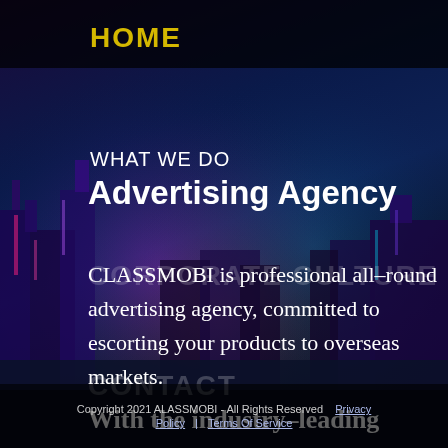HOME
WHAT WE DO
Advertising Agency
CORPORATE CULTURE
CLASSMOBI is professional all–round advertising agency, committed to escorting your products to overseas markets.
CONTACT
With the industry–leading
Copyright 2021 ALASSMOBI - All Rights Reserved  Privacy Policy | Terms Of Service